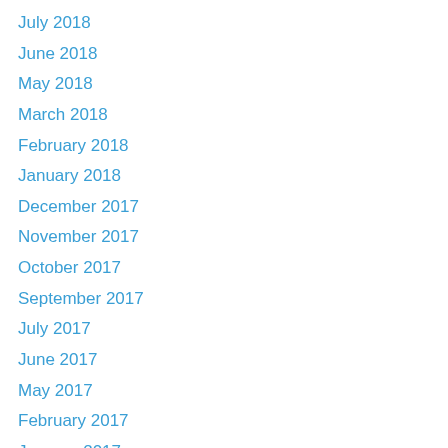July 2018
June 2018
May 2018
March 2018
February 2018
January 2018
December 2017
November 2017
October 2017
September 2017
July 2017
June 2017
May 2017
February 2017
January 2017
December 2016
November 2016
August 2016
April 2016
March 2016